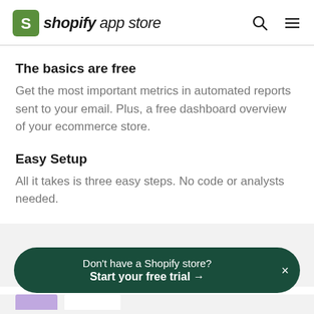shopify app store
The basics are free
Get the most important metrics in automated reports sent to your email. Plus, a free dashboard overview of your ecommerce store.
Easy Setup
All it takes is three easy steps. No code or analysts needed.
Don't have a Shopify store? Start your free trial →